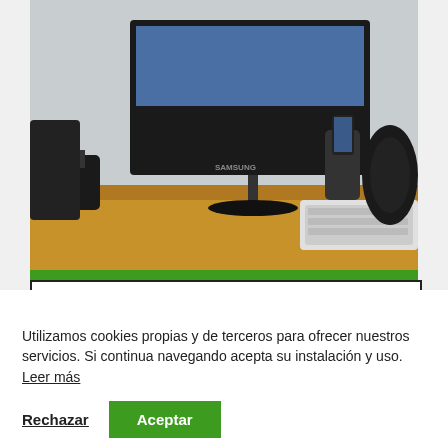[Figure (photo): Photo of a computer desk setup with a Samsung monitor displaying a desktop background, a smartphone in a dock, a wireless keyboard, a speaker, and pen holder on a wooden desk. Green banner overlay at the bottom reading MEJORES.]
Monitores USB-C
Utilizamos cookies propias y de terceros para ofrecer nuestros servicios. Si continua navegando acepta su instalación y uso. Leer más
Rechazar    Aceptar